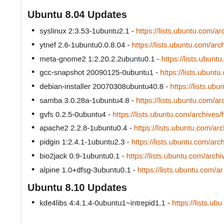Ubuntu 8.04 Updates
syslinux 2:3.53-1ubuntu2.1 - https://lists.ubuntu.com/arc...
ytnef 2.6-1ubuntu0.0.8.04 - https://lists.ubuntu.com/arch...
meta-gnome2 1:2.20.2.2ubuntu0.1 - https://lists.ubuntu...
gcc-snapshot 20090125-0ubuntu1 - https://lists.ubuntu.c...
debian-installer 20070308ubuntu40.8 - https://lists.ubun...
samba 3.0.28a-1ubuntu4.8 - https://lists.ubuntu.com/arc...
gvfs 0.2.5-0ubuntu4 - https://lists.ubuntu.com/archives/h...
apache2 2.2.8-1ubuntu0.4 - https://lists.ubuntu.com/arch...
pidgin 1:2.4.1-1ubuntu2.3 - https://lists.ubuntu.com/arch...
bio2jack 0.9-1ubuntu0.1 - https://lists.ubuntu.com/archiv...
alpine 1.0+dfsg-3ubuntu0.1 - https://lists.ubuntu.com/ar...
Ubuntu 8.10 Updates
kde4libs 4:4.1.4-0ubuntu1~intrepid1.1 - https://lists.ubu...